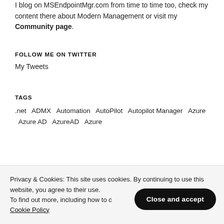I blog on MSEndpointMgr.com from time to time too, check my content there about Modern Management or visit my Community page.
FOLLOW ME ON TWITTER
My Tweets
TAGS
.net   ADMX   Automation   AutoPilot   Autopilot Manager   Azure   Azure AD   AzureAD   Azure
Privacy & Cookies: This site uses cookies. By continuing to use this website, you agree to their use. To find out more, including how to control cookies, see here: Cookie Policy
Close and accept